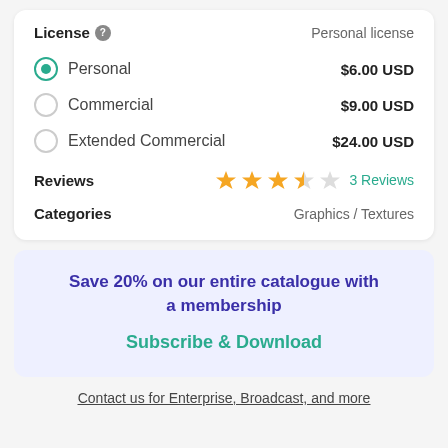License ? — Personal license
Personal — $6.00 USD (selected)
Commercial — $9.00 USD
Extended Commercial — $24.00 USD
Reviews — 3.5 stars — 3 Reviews
Categories — Graphics / Textures
Save 20% on our entire catalogue with a membership
Subscribe & Download
Contact us for Enterprise, Broadcast, and more